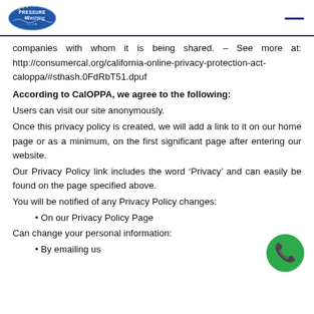Pressure Washing [logo]
companies with whom it is being shared. – See more at: http://consumercal.org/california-online-privacy-protection-act-caloppa/#sthash.0FdRbT51.dpuf
According to CalOPPA, we agree to the following:
Users can visit our site anonymously.
Once this privacy policy is created, we will add a link to it on our home page or as a minimum, on the first significant page after entering our website.
Our Privacy Policy link includes the word ‘Privacy’ and can easily be found on the page specified above.
You will be notified of any Privacy Policy changes:
On our Privacy Policy Page
Can change your personal information:
By emailing us